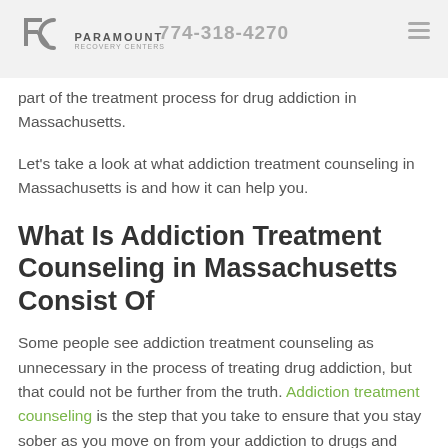PARAMOUNT | 774-318-4270
part of the treatment process for drug addiction in Massachusetts.
Let's take a look at what addiction treatment counseling in Massachusetts is and how it can help you.
What Is Addiction Treatment Counseling in Massachusetts Consist Of
Some people see addiction treatment counseling as unnecessary in the process of treating drug addiction, but that could not be further from the truth. Addiction treatment counseling is the step that you take to ensure that you stay sober as you move on from your addiction to drugs and alcohol.